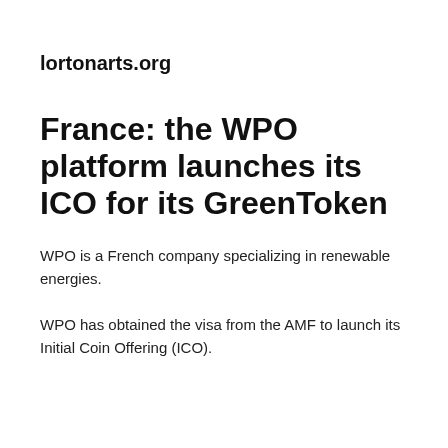lortonarts.org
France: the WPO platform launches its ICO for its GreenToken
WPO is a French company specializing in renewable energies.
WPO has obtained the visa from the AMF to launch its Initial Coin Offering (ICO).